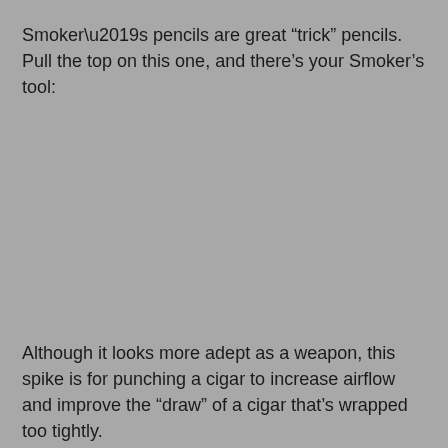Smoker’s pencils are great “trick” pencils.  Pull the top on this one, and there’s your Smoker’s tool:
[Figure (photo): Gray blank area representing an image placeholder of a smoker's pencil tool (spike).]
Although it looks more adept as a weapon, this spike is for punching a cigar to increase airflow and improve the “draw” of a cigar that’s wrapped too tightly.
British patents aren’t as easy to find as their American counterparts, but in this case, I was able to locate the patent online (having the number certainly helped).   It was applied for by A... Fi... and David Fi... (last line cut off)